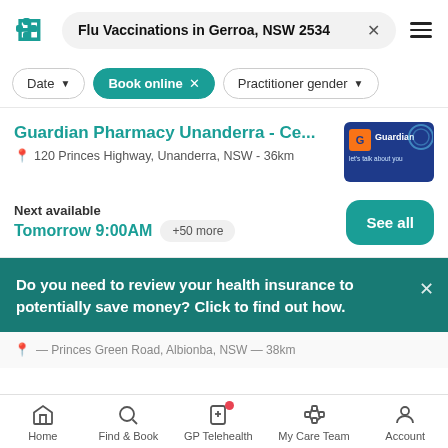Flu Vaccinations in Gerroa, NSW 2534
Date | Book online x | Practitioner gender
Guardian Pharmacy Unanderra - Ce...
120 Princes Highway, Unanderra, NSW - 36km
Next available
Tomorrow 9:00AM +50 more
Do you need to review your health insurance to potentially save money? Click to find out how.
Home | Find & Book | GP Telehealth | My Care Team | Account